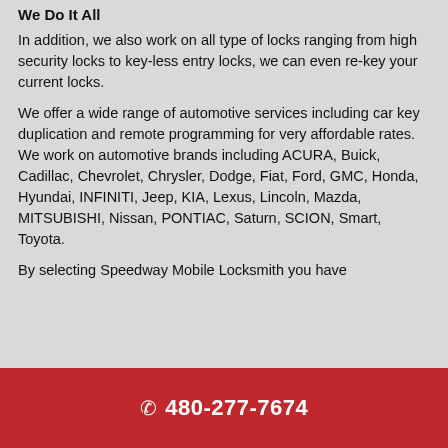We Do It All
In addition, we also work on all type of locks ranging from high security locks to key-less entry locks, we can even re-key your current locks.
We offer a wide range of automotive services including car key duplication and remote programming for very affordable rates. We work on automotive brands including ACURA, Buick, Cadillac, Chevrolet, Chrysler, Dodge, Fiat, Ford, GMC, Honda, Hyundai, INFINITI, Jeep, KIA, Lexus, Lincoln, Mazda, MITSUBISHI, Nissan, PONTIAC, Saturn, SCION, Smart, Toyota.
By selecting Speedway Mobile Locksmith you have
480-277-7674